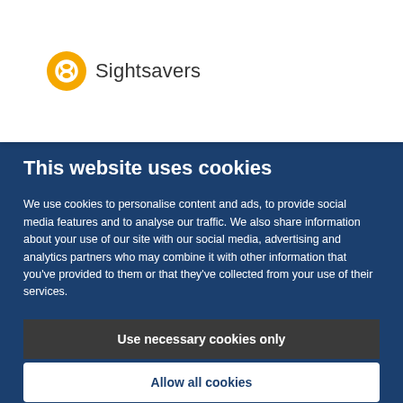[Figure (logo): Sightsavers logo: yellow circular icon with stylized S shape, followed by the text 'Sightsavers' in dark gray]
This website uses cookies
We use cookies to personalise content and ads, to provide social media features and to analyse our traffic. We also share information about your use of our site with our social media, advertising and analytics partners who may combine it with other information that you've provided to them or that they've collected from your use of their services.
Use necessary cookies only
Allow all cookies